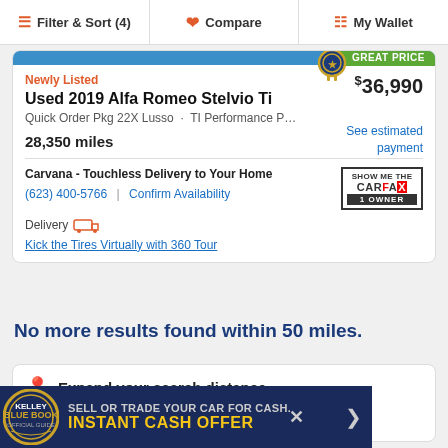Filter & Sort (4) | Compare | My Wallet
Newly Listed
Used 2019 Alfa Romeo Stelvio Ti
Quick Order Pkg 22X Lusso · TI Performance P…
28,350 miles
$36,990
See estimated payment
Carvana - Touchless Delivery to Your Home
(623) 400-5766 | Confirm Availability
Delivery
Kick the Tires Virtually with 360 Tour
No more results found within 50 miles.
Expand your search distance
SELL OR TRADE YOUR CAR FOR CASH. INSTANT CASH OFFER